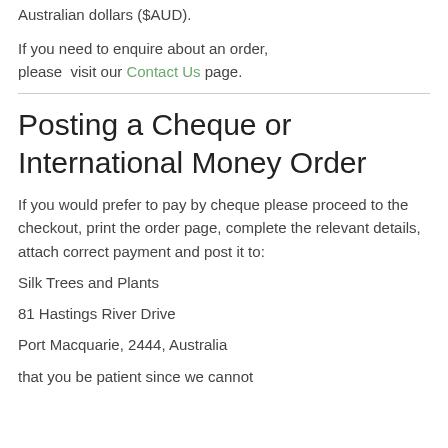Australian dollars ($AUD).
If you need to enquire about an order, please  visit our Contact Us page.
Posting a Cheque or International Money Order
If you would prefer to pay by cheque please proceed to the checkout, print the order page, complete the relevant details, attach correct payment and post it to:
Silk Trees and Plants
81 Hastings River Drive
Port Macquarie, 2444, Australia
that you be patient since we cannot